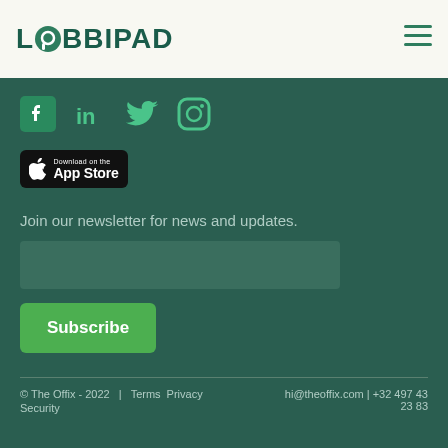LOBBIPAD
[Figure (logo): Social media icons: Facebook, LinkedIn, Twitter, Instagram in green on dark green background]
[Figure (logo): Download on the App Store button]
Join our newsletter for news and updates.
[Figure (other): Email input field and Subscribe button]
© The Offix - 2022  |  Terms  Privacy     hi@theoffix.com | +32 497 43 23 83
Security